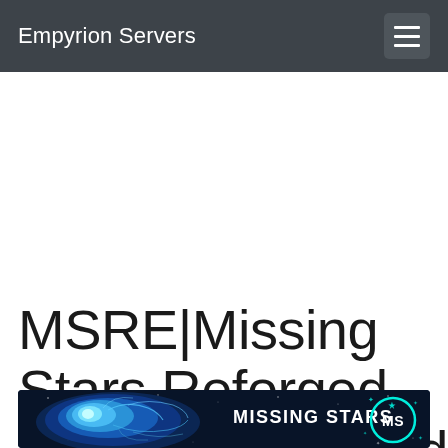Empyrion Servers
MSRE|Missing Stars Reforged Eden|PvEvP|Mods
[Figure (illustration): Missing Stars gaming server banner with blue glowing brain/neural imagery on left and 'MISSING STARS MS' logo text on right against dark blue space background]